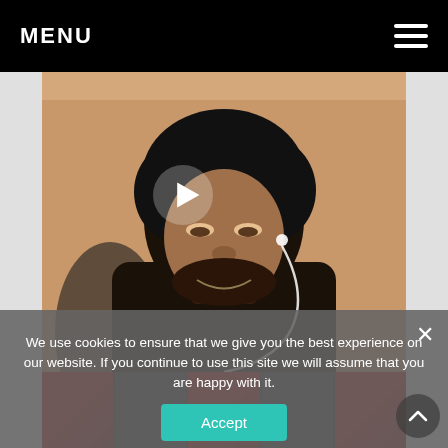MENU
[Figure (screenshot): Video thumbnail of a young man with an afro hairstyle wearing earbuds and a dark hoodie, with a white play button overlay in the center. Orange/tan wall background.]
We use cookies to ensure that we give you the best experience on our website. If you continue to use this site we will assume that you are happy with it.
Accept